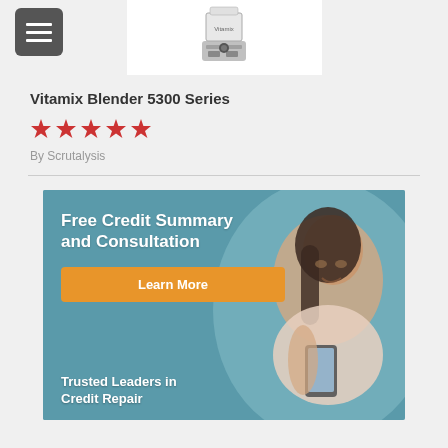[Figure (photo): Vitamix blender product image shown in white box at top of page]
Vitamix Blender 5300 Series
[Figure (other): Five red star rating icons]
By Scrutalysis
[Figure (infographic): Advertisement banner with teal/blue background showing a woman looking at phone. Text reads: Free Credit Summary and Consultation. Learn More button in orange. Trusted Leaders in Credit Repair at bottom.]